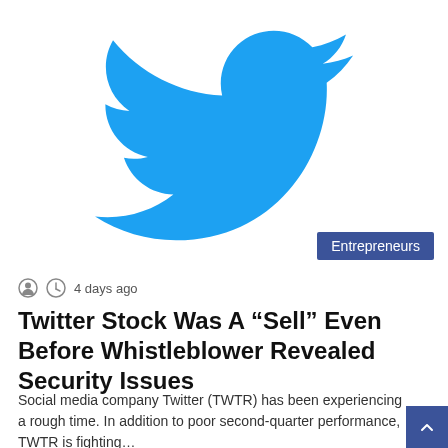[Figure (logo): Twitter bird logo in blue on white background]
Entrepreneurs
4 days ago
Twitter Stock Was A “Sell” Even Before Whistleblower Revealed Security Issues
Social media company Twitter (TWTR) has been experiencing a rough time. In addition to poor second-quarter performance, TWTR is fighting…